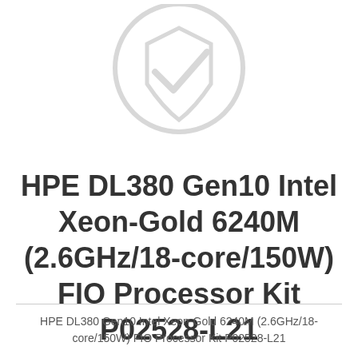[Figure (logo): HPE (Hewlett Packard Enterprise) logo watermark in light gray at top center of page]
HPE DL380 Gen10 Intel Xeon-Gold 6240M (2.6GHz/18-core/150W) FIO Processor Kit P02528-L21
HPE DL380 Gen10 Intel Xeon-Gold 6240M (2.6GHz/18-core/150W) FIO Processor Kit P02528-L21